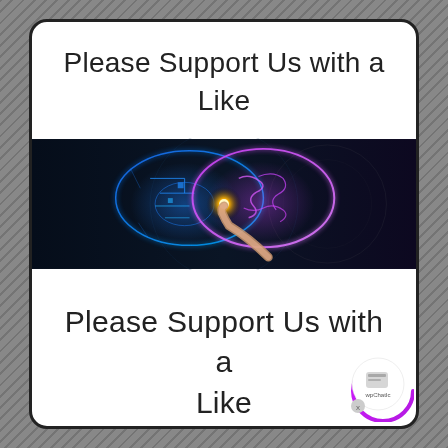Please Support Us with a Like
[Figure (illustration): A digital art image of a human brain split into two halves — left side shown as blue circuit-board/neon lines, right side as a glowing pink/purple organic brain — with a human finger touching the center point where both halves meet, producing a bright orange/golden spark of light, set against a dark futuristic background with circular clock-like elements.]
Please Support Us with a Like
[Figure (logo): wpChatIcon badge — a small circular UI element with purple/pink gradient arc around it, containing a white circle with a chat icon and the text 'wpChatIc', and a small X close button.]